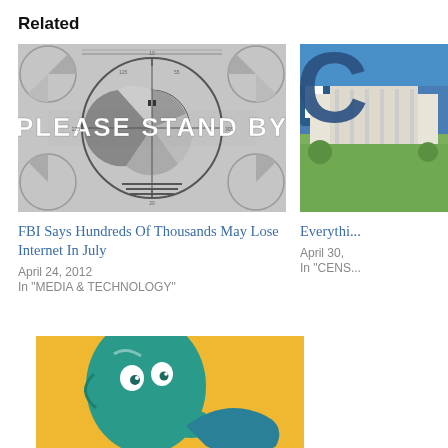Related
[Figure (photo): Black and white TV test card with text PLEASE STAND BY]
[Figure (photo): Partial image showing a large letter C logo and a government building with lawn]
FBI Says Hundreds Of Thousands May Lose Internet In July
April 24, 2012
In "MEDIA & TECHNOLOGY"
Everythi...
April 30,
In "CENS..."
[Figure (illustration): Illustration of a teal cartoon character on a yellow/orange background]